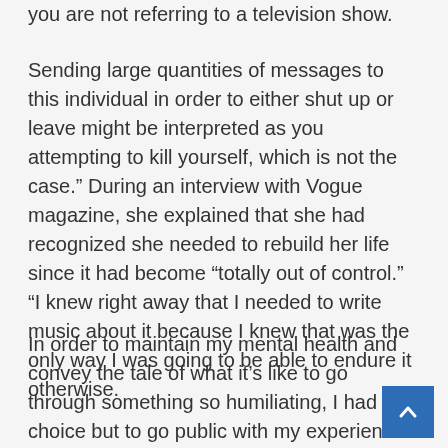you are not referring to a television show.
Sending large quantities of messages to this individual in order to either shut up or leave might be interpreted as you attempting to kill yourself, which is not the case.” During an interview with Vogue magazine, she explained that she had recognized she needed to rebuild her life since it had become “totally out of control.” “I knew right away that I needed to write music about it because I knew that was the only way I was going to be able to endure it otherwise.
In order to maintain my mental health and convey the tale of what it’s like to go through something so humiliating, I had no choice but to go public with my experience.” Taylor